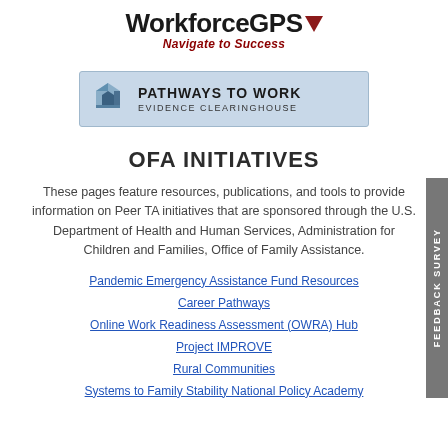[Figure (logo): WorkforceGPS logo with red triangle and tagline 'Navigate to Success' in italic red text]
[Figure (logo): Pathways to Work Evidence Clearinghouse banner with blue house/arrow icon on light blue background]
OFA INITIATIVES
These pages feature resources, publications, and tools to provide information on Peer TA initiatives that are sponsored through the U.S. Department of Health and Human Services, Administration for Children and Families, Office of Family Assistance.
Pandemic Emergency Assistance Fund Resources
Career Pathways
Online Work Readiness Assessment (OWRA) Hub
Project IMPROVE
Rural Communities
Systems to Family Stability National Policy Academy